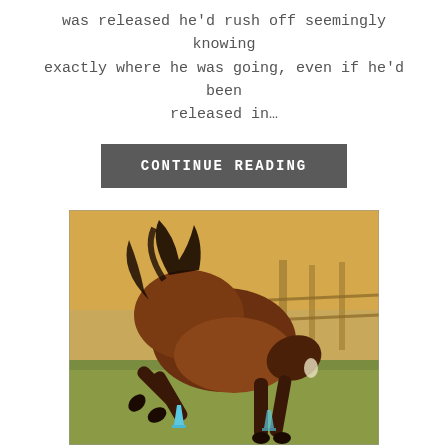was released he'd rush off seemingly knowing exactly where he was going, even if he'd been released in...
CONTINUE READING
[Figure (photo): A brown horse kicking up its hind legs in a field with blue cones on the ground and bare trees and a fence in the background.]
- - -
x